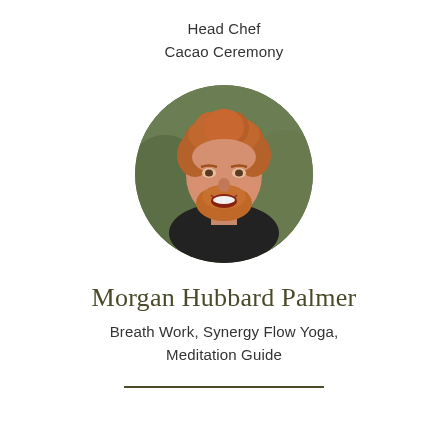Head Chef
Cacao Ceremony
[Figure (photo): Circular portrait photo of Morgan Hubbard Palmer, a smiling man with reddish-brown hair and beard, wearing a black sleeveless shirt, with a blurred green outdoor background.]
Morgan Hubbard Palmer
Breath Work, Synergy Flow Yoga,
Meditation Guide